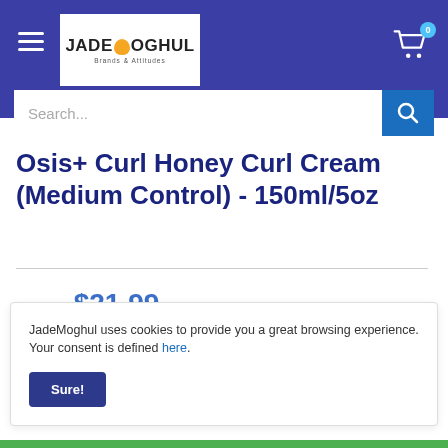[Figure (logo): JadeMoghul logo with hamburger menu, cart icon, and search bar on a dark blue header background]
Osis+ Curl Honey Curl Cream (Medium Control) - 150ml/5oz
Price: $21.99
JadeMoghul uses cookies to provide you a great browsing experience. Your consent is defined here.
Sure!